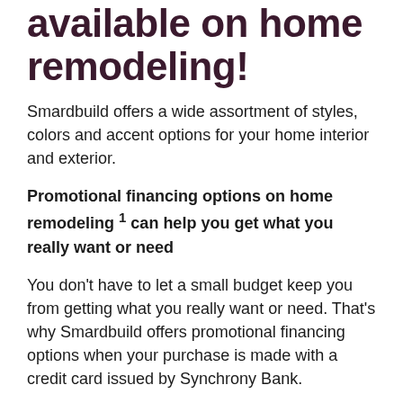available on home remodeling!
Smardbuild offers a wide assortment of styles, colors and accent options for your home interior and exterior.
Promotional financing options on home remodeling 1 can help you get what you really want or need
You don't have to let a small budget keep you from getting what you really want or need. That's why Smardbuild offers promotional financing options when your purchase is made with a credit card issued by Synchrony Bank.
Synchrony Bank is one of the premier consumer financial services companies in the United States with